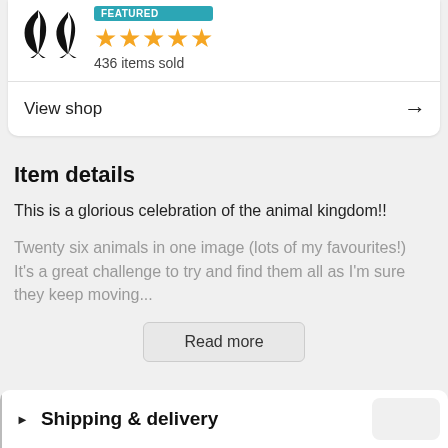[Figure (illustration): Two black bird/swallow silhouette icons side by side, shop logo]
FEATURED
436 items sold
View shop →
Item details
This is a glorious celebration of the animal kingdom!!
Twenty six animals in one image (lots of my favourites!) It's a great challenge to try and find them all as I'm sure they keep moving...
Read more
▶ Shipping & delivery